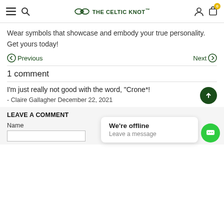THE CELTIC KNOT™
Wear symbols that showcase and embody your true personality. Get yours today!
Previous   Next
1 comment
I'm just really not good with the word, "Crone*!
- Claire Gallagher December 22, 2021
LEAVE A COMMENT
Name
We're offline
Leave a message